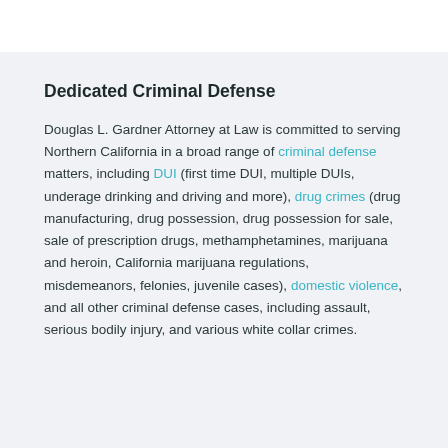Dedicated Criminal Defense
Douglas L. Gardner Attorney at Law is committed to serving Northern California in a broad range of criminal defense matters, including DUI (first time DUI, multiple DUIs, underage drinking and driving and more), drug crimes (drug manufacturing, drug possession, drug possession for sale, sale of prescription drugs, methamphetamines, marijuana and heroin, California marijuana regulations, misdemeanors, felonies, juvenile cases), domestic violence, and all other criminal defense cases, including assault, serious bodily injury, and various white collar crimes.